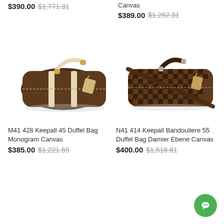$390.00  $1,771.31
Canvas
$389.00  $1,262.31
[Figure (photo): Louis Vuitton Keepall 45 Duffel Bag in Monogram Canvas with cream/beige leather handles and luggage tag]
[Figure (photo): Louis Vuitton Keepall Bandouliere 55 Duffel Bag in Damier Ebene Canvas with brown leather shoulder strap]
M41 428 Keepall 45 Duffel Bag Monogram Canvas
$385.00  $1,221.59
N41 414 Keepall Bandouliere 55 Duffel Bag Damier Ebene Canvas
$400.00  $1,516.81